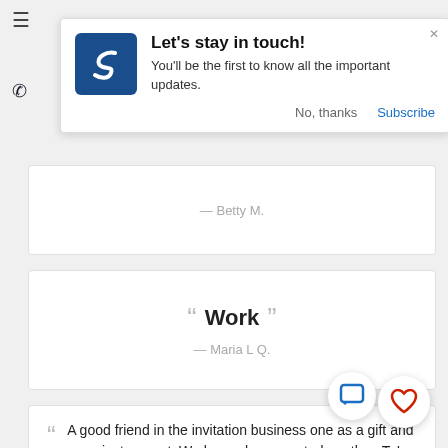[Figure (screenshot): Push notification popup overlay with blue S logo, heading 'Let's stay in touch!', body text 'You'll be the first to know all the important updates.', buttons 'No, thanks' and 'Subscribe']
— Betty M.
" Work "
— Maria L Q.
A good friend in the invitation business one as a gift and we just ran out. We lo much we wanted another. Ty!